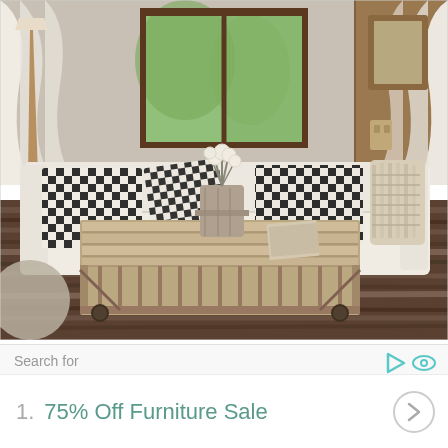[Figure (photo): Interior living room photo showing a white slipcovered sofa with black and white buffalo check pillows and a chunky knit blanket, a rustic industrial cart-style coffee table on wheels with wood slat top, hardwood floors, white curtains, a window with trees visible outside, and a floor lamp.]
Search for
1.  75% Off Furniture Sale